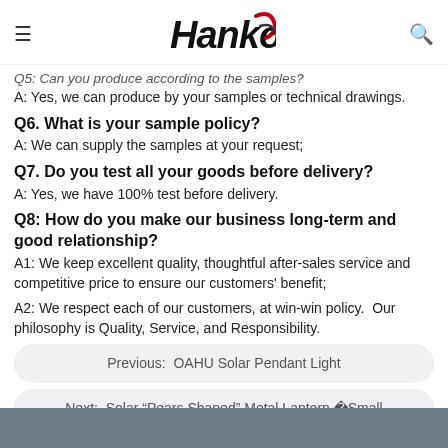Hanko
Q5: Can you produce according to the samples?
A: Yes, we can produce by your samples or technical drawings.
Q6. What is your sample policy?
A: We can supply the samples at your request;
Q7. Do you test all your goods before delivery?
A: Yes, we have 100% test before delivery.
Q8: How do you make our business long-term and good relationship?
A1: We keep excellent quality, thoughtful after-sales service and competitive price to ensure our customers' benefit;
A2: We respect each of our customers, at win-win policy.  Our philosophy is Quality, Service, and Responsibility.
Previous:  OAHU Solar Pendant Light
Next:  Solar “Pears Shaped” Metal Lantern �Small